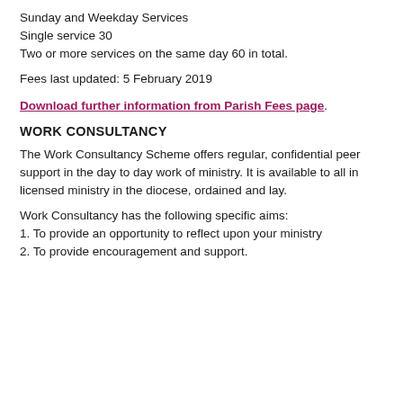Sunday and Weekday Services
Single service 30
Two or more services on the same day 60 in total.
Fees last updated: 5 February 2019
Download further information from Parish Fees page.
WORK CONSULTANCY
The Work Consultancy Scheme offers regular, confidential peer support in the day to day work of ministry. It is available to all in licensed ministry in the diocese, ordained and lay.
Work Consultancy has the following specific aims:
1. To provide an opportunity to reflect upon your ministry
2. To provide encouragement and support.